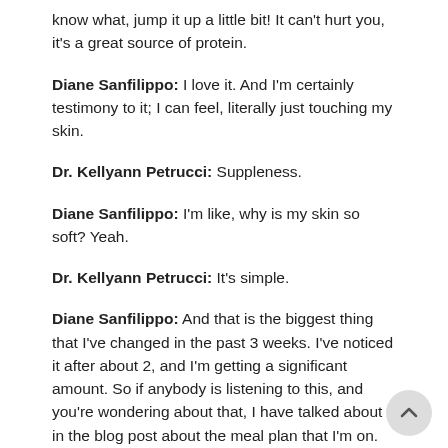know what, jump it up a little bit! It can't hurt you, it's a great source of protein.
Diane Sanfilippo: I love it. And I'm certainly testimony to it; I can feel, literally just touching my skin.
Dr. Kellyann Petrucci: Suppleness.
Diane Sanfilippo: I'm like, why is my skin so soft? Yeah.
Dr. Kellyann Petrucci: It's simple.
Diane Sanfilippo: And that is the biggest thing that I've changed in the past 3 weeks. I've noticed it after about 2, and I'm getting a significant amount. So if anybody is listening to this, and you're wondering about that, I have talked about it in the blog post about the meal plan that I'm on. There's a FAQ post in my blog about this plan that I'm on, and